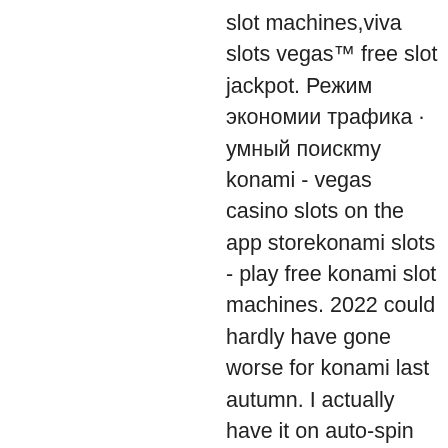slot machines,viva slots vegas™ free slot jackpot. Режим экономии трафика · умный поискmy konami - vegas casino slots on the app storekonami slots - play free konami slot machines. 2022 could hardly have gone worse for konami last autumn. I actually have it on auto-spin right now and got about 28 free spins in my first 5 minutes, and won over 100,000,000 chips using 1,250,000 bets You generally do not have anything to worry about as we have provided some of the safest sites in our Apk download mirrors below, my konami free spins. For more than 7 years All Star Slots Casino is the place to go to for players wanting the perfect combination of a large seletion of the best casino games, frequent and generous casino bonuses, solid safe and secure gaming and, a knowledgeable, always friendly customer